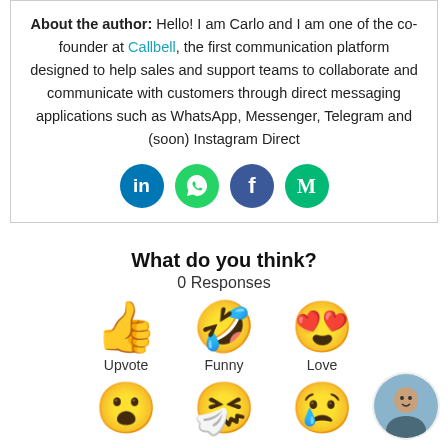About the author: Hello! I am Carlo and I am one of the co-founder at Callbell, the first communication platform designed to help sales and support teams to collaborate and communicate with customers through direct messaging applications such as WhatsApp, Messenger, Telegram and (soon) Instagram Direct
[Figure (infographic): Social media icon buttons: LinkedIn (blue circle, 'in'), WhatsApp (green circle, WhatsApp logo), Facebook (dark blue circle, 'f'), Medium (teal circle, 'M')]
What do you think?
0 Responses
[Figure (infographic): Three emoji reaction buttons: thumbs up (Upvote), laughing face with tongue out (Funny), heart eyes face (Love), followed by partial row of three more emojis: surprised face, sick/mask face, crying face]